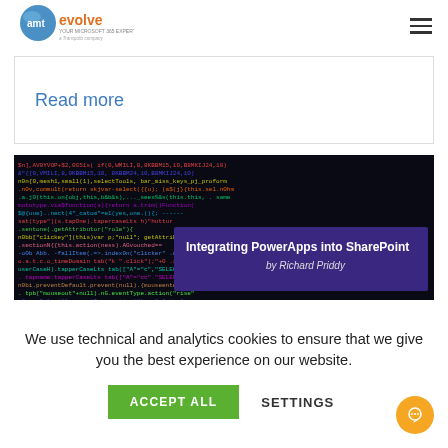[Figure (logo): AMT Evolve logo - Your Microsoft 365 Experts, a Transpolis company]
Read more
[Figure (photo): Dark background showing colorful code/programming text with a purple overlay box reading 'Integrating PowerApps into SharePoint by Richard Priddy']
We use technical and analytics cookies to ensure that we give you the best experience on our website.
ACCEPT ALL
SETTINGS